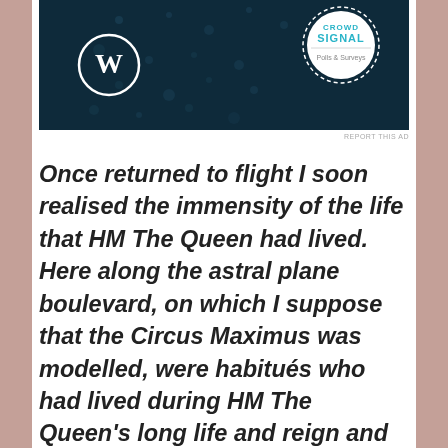[Figure (screenshot): Advertisement banner with dark navy background, WordPress logo on left, Crowd Signal logo on right with dotted pattern]
REPORT THIS AD
Once returned to flight I soon realised the immensity of the life that HM The Queen had lived. Here along the astral plane boulevard, on which I suppose that the Circus Maximus was modelled, were habitués who had lived during HM The Queen's long life and reign and who had immensely admired her. These spanned the range of human civilisation with not just every racial stratum of Commonwealth member states but all